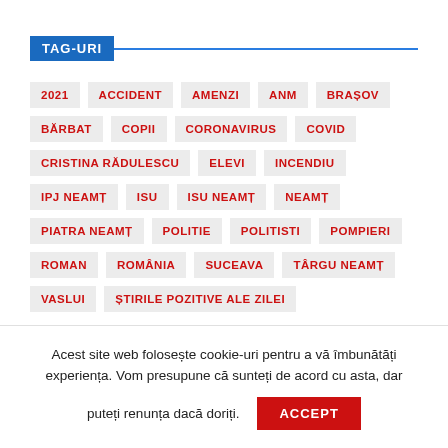TAG-URI
2021
ACCIDENT
AMENZI
ANM
BRAȘOV
BĂRBAT
COPII
CORONAVIRUS
COVID
CRISTINA RĂDULESCU
ELEVI
INCENDIU
IPJ NEAMȚ
ISU
ISU NEAMȚ
NEAMȚ
PIATRA NEAMȚ
POLITIE
POLITISTI
POMPIERI
ROMAN
ROMÂNIA
SUCEAVA
TÂRGU NEAMȚ
VASLUI
ȘTIRILE POZITIVE ALE ZILEI
Acest site web folosește cookie-uri pentru a vă îmbunătăți experiența. Vom presupune că sunteți de acord cu asta, dar puteți renunța dacă doriți.
ACCEPT